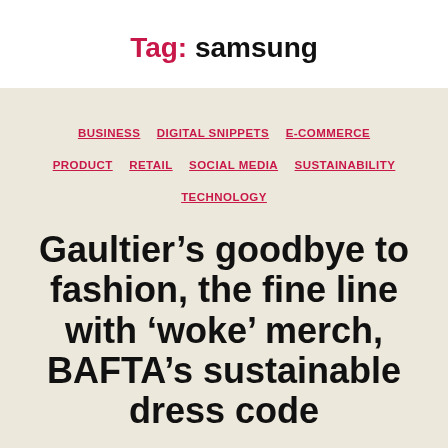Tag: samsung
BUSINESS
DIGITAL SNIPPETS
E-COMMERCE
PRODUCT
RETAIL
SOCIAL MEDIA
SUSTAINABILITY
TECHNOLOGY
Gaultier’s goodbye to fashion, the fine line with ‘woke’ merch, BAFTA’s sustainable dress code
By Hannah Reed   January 27, 2020